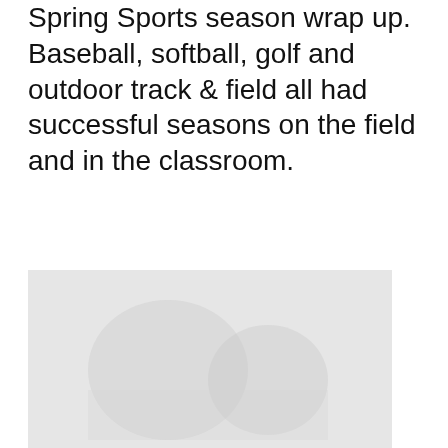Spring Sports season wrap up. Baseball, softball, golf and outdoor track & field all had successful seasons on the field and in the classroom.
[Figure (photo): A faded/washed-out photograph placeholder, light gray rectangle]
Baseball finished the 2022 season 27-28 with a trip to the American Midwest Conference semifinals after earning the #5 seed in the AMC tournament. Jay French had a